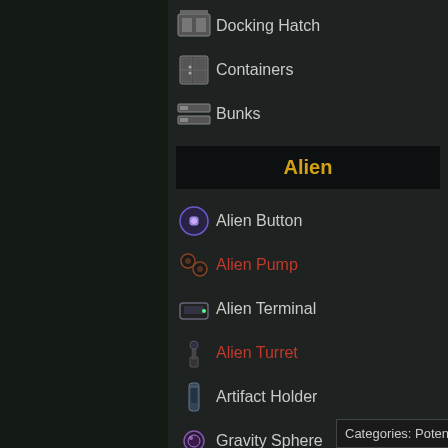Docking Hatch
Containers
Bunks
Alien
Alien Button
Alien Pump
Alien Terminal
Alien Turret
Artifact Holder
Gravity Sphere
Guardian Pod
Incubation Bubble
Categories: Potentially Outdated